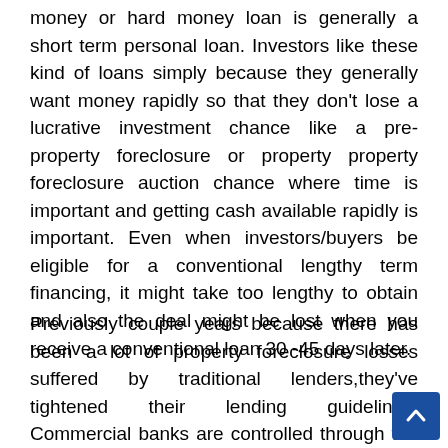money or hard money loan is generally a short term personal loan. Investors like these kind of loans simply because they generally want money rapidly so that they don't lose a lucrative investment chance like a pre-property foreclosure or property property foreclosure auction chance where time is important and getting cash available rapidly is important. Even when investors/buyers be eligible for a conventional lengthy term financing, it might take too lengthy to obtain and also the deal might be lost when you receive a conventional loan 30 -45 days later.
Previously couple years because there has been a lot of property foreclosure losses suffered by traditional lenders,they've tightened their lending guidelines. Commercial banks are controlled through the Fed and also have to follow along with strict